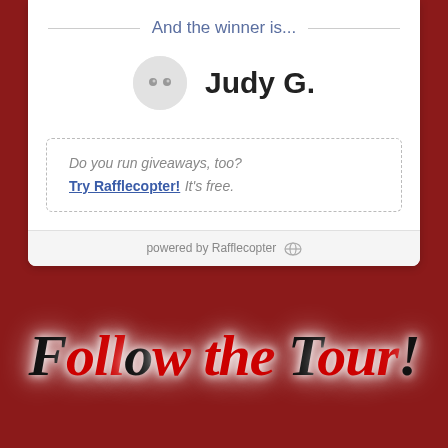And the winner is...
Judy G.
Do you run giveaways, too? Try Rafflecopter! It's free.
powered by Rafflecopter
Follow the Tour!